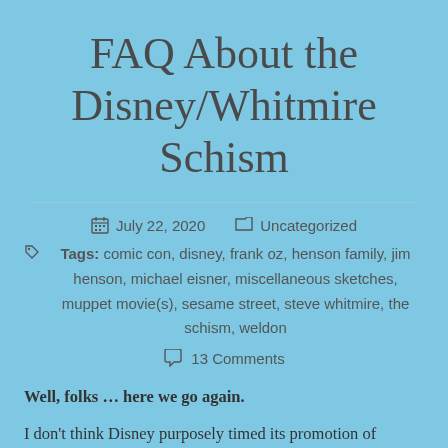FAQ About the Disney/Whitmire Schism
July 22, 2020   Uncategorized
Tags: comic con, disney, frank oz, henson family, jim henson, michael eisner, miscellaneous sketches, muppet movie(s), sesame street, steve whitmire, the schism, weldon
13 Comments
Well, folks … here we go again.
I don't think Disney purposely timed its promotion of